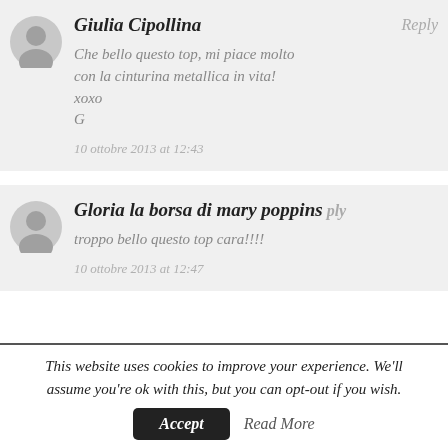Giulia Cipollina
Reply
Che bello questo top, mi piace molto con la cinturina metallica in vita! xoxo G
10 ottobre 2013 at 12:43
Gloria la borsa di mary poppins
Reply
troppo bello questo top cara!!!!
10 ottobre 2013 at 12:47
This website uses cookies to improve your experience. We'll assume you're ok with this, but you can opt-out if you wish.
Accept
Read More